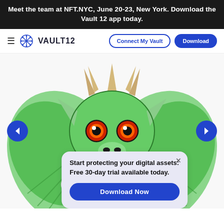Meet the team at NFT.NYC, June 20-23, New York. Download the Vault 12 app today.
[Figure (screenshot): Vault 12 website navigation bar with hamburger menu, snowflake logo, VAULT12 text, Connect My Vault outline button, and Download solid blue button]
[Figure (illustration): Cartoon green dragon creature with large orange-red eyes, horns, bat wings, and claws, centered on a white background with left and right navigation arrows]
Start protecting your digital assets: Free 30-day trial available today.
Download Now